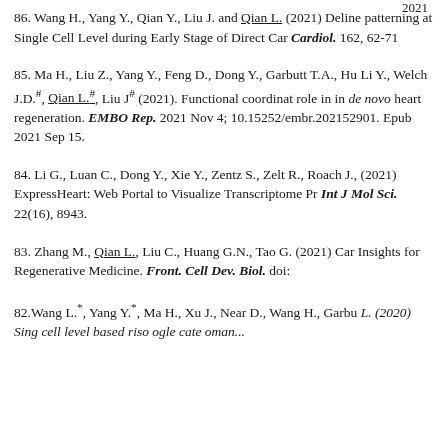86. Wang H., Yang Y., Qian Y., Liu J. and Qian L. (2021) Delineating patterning at Single Cell Level during Early Stage of Direct Cardiol. 162, 62-71
85. Ma H., Liu Z., Yang Y., Feng D., Dong Y., Garbutt T.A., Hu Li Y., Welch J.D.#, Qian L.#, Liu J# (2021). Functional coordinate role in in de novo heart regeneration. EMBO Rep. 2021 Nov 4; 10.15252/embr.202152901. Epub 2021 Sep 15.
84. Li G., Luan C., Dong Y., Xie Y., Zentz S., Zelt R., Roach J., (2021) ExpressHeart: Web Portal to Visualize Transcriptome Pr Int J Mol Sci. 22(16), 8943.
83. Zhang M., Qian L., Liu C., Huang G.N., Tao G. (2021) Caro Insights for Regenerative Medicine. Front. Cell Dev. Biol. doi:
82.Wang L.*, Yang Y.*, Ma H., Xu J., Near D., Wang H., Garbu (2020) Single cell level...